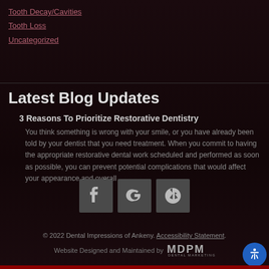Tooth Decay/Cavities
Tooth Loss
Uncategorized
Latest Blog Updates
3 Reasons To Prioritize Restorative Dentistry
You think something is wrong with your smile, or you have already been told by your dentist that you need treatment. When you commit to having the appropriate restorative dental work scheduled and performed as soon as possible, you can prevent potential complications that would affect your appearance and overall …
[Figure (other): Three social media icon buttons: Facebook, Google, and Yelp]
© 2022 Dental Impressions of Ankeny. Accessibility Statement.
Website Designed and Maintained by MDPM DENTAL MARKETING